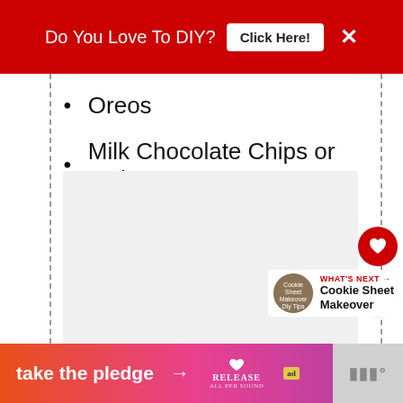Do You Love To DIY? Click Here!
Oreos
Milk Chocolate Chips or Melts
[Figure (photo): Light gray image placeholder for a recipe photo]
[Figure (infographic): What's Next promo: Cookie Sheet Makeover with thumbnail]
take the pledge — RELEASE ad